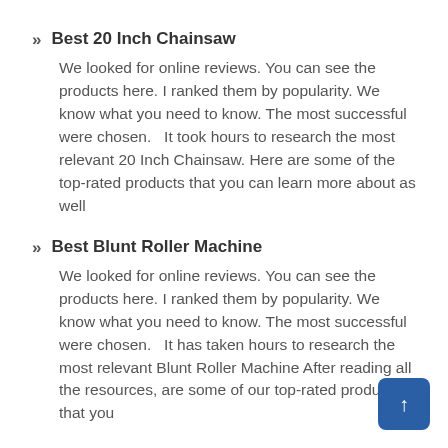Best 20 Inch Chainsaw
We looked for online reviews. You can see the products here. I ranked them by popularity. We know what you need to know. The most successful were chosen.   It took hours to research the most relevant 20 Inch Chainsaw. Here are some of the top-rated products that you can learn more about as well
Best Blunt Roller Machine
We looked for online reviews. You can see the products here. I ranked them by popularity. We know what you need to know. The most successful were chosen.   It has taken hours to research the most relevant Blunt Roller Machine After reading all the resources, are some of our top-rated products that you